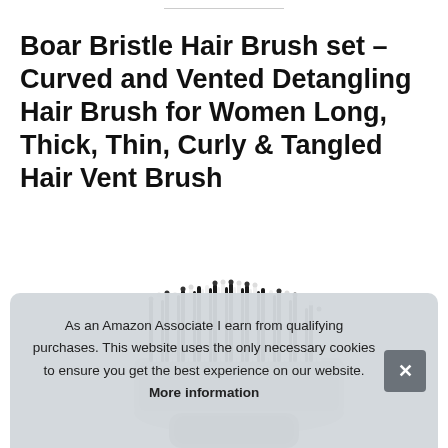Boar Bristle Hair Brush set – Curved and Vented Detangling Hair Brush for Women Long, Thick, Thin, Curly & Tangled Hair Vent Brush
[Figure (photo): A boar bristle hair brush with black and white bristles arranged in rows, photographed from the side showing the bristle head.]
As an Amazon Associate I earn from qualifying purchases. This website uses the only necessary cookies to ensure you get the best experience on our website. More information